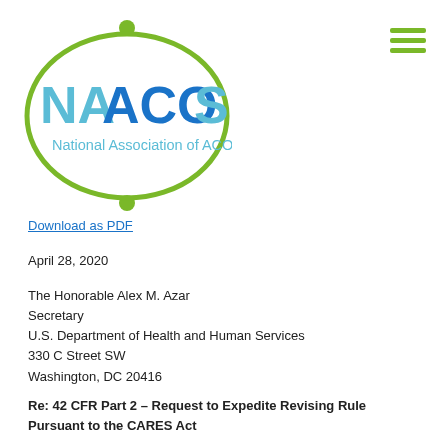[Figure (logo): NAACOS - National Association of ACOs logo with green oval and blue/green text]
Download as PDF
April 28, 2020
The Honorable Alex M. Azar
Secretary
U.S. Department of Health and Human Services
330 C Street SW
Washington, DC 20416
Re: 42 CFR Part 2 – Request to Expedite Revising Rule Pursuant to the CARES Act